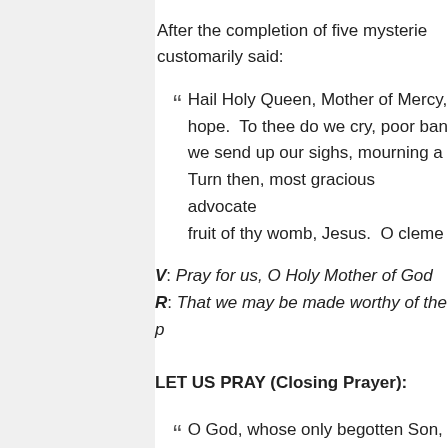After the completion of five mysteries customarily said:
“ Hail Holy Queen, Mother of Mercy, hope. To thee do we cry, poor ban we send up our sighs, mourning a Turn then, most gracious advocate fruit of thy womb, Jesus. O cleme
V: Pray for us, O Holy Mother of God
R: That we may be made worthy of the p
LET US PRAY (Closing Prayer):
“ O God, whose only begotten Son, has purchased for us the rewards